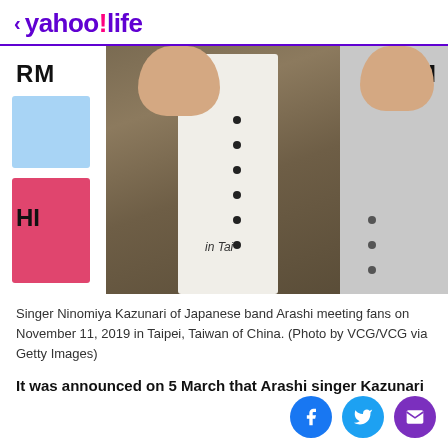< yahoo!life
[Figure (photo): Singer Ninomiya Kazunari of Japanese band Arashi waving to fans, wearing a khaki/olive suede jacket over a white shirt, with another person in a gray jacket visible on the right. Background shows event signage with partial text 'RM', 'ARA', 'ORM', 'HI', 'in Tai'.]
Singer Ninomiya Kazunari of Japanese band Arashi meeting fans on November 11, 2019 in Taipei, Taiwan of China. (Photo by VCG/VCG via Getty Images)
It was announced on 5 March that Arashi singer Kazunari